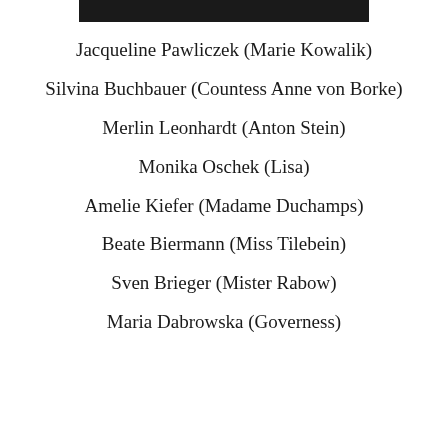[Figure (other): Black rectangular header bar at the top of the page]
Jacqueline Pawliczek (Marie Kowalik)
Silvina Buchbauer (Countess Anne von Borke)
Merlin Leonhardt (Anton Stein)
Monika Oschek (Lisa)
Amelie Kiefer (Madame Duchamps)
Beate Biermann (Miss Tilebein)
Sven Brieger (Mister Rabow)
Maria Dabrowska (Governess)